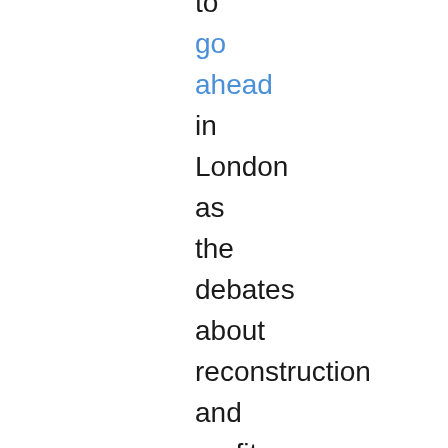to go ahead in London as the debates about reconstruction and profits from Iraq continue. The demonstration will assemble at 12 Noon near Waterloo and Victoria.